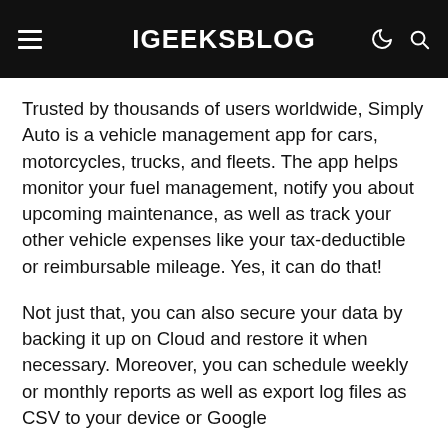iGEEKSBLOG
Trusted by thousands of users worldwide, Simply Auto is a vehicle management app for cars, motorcycles, trucks, and fleets. The app helps monitor your fuel management, notify you about upcoming maintenance, as well as track your other vehicle expenses like your tax-deductible or reimbursable mileage. Yes, it can do that!
Not just that, you can also secure your data by backing it up on Cloud and restore it when necessary. Moreover, you can schedule weekly or monthly reports as well as export log files as CSV to your device or Google...